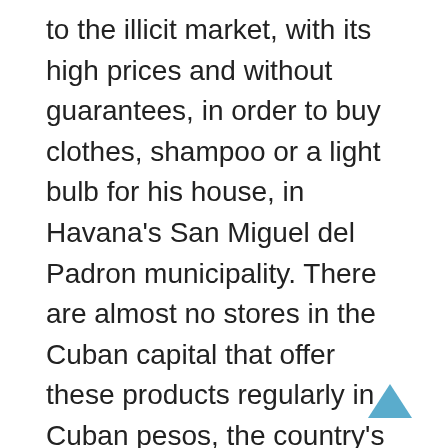to the illicit market, with its high prices and without guarantees, in order to buy clothes, shampoo or a light bulb for his house, in Havana's San Miguel del Padron municipality. There are almost no stores in the Cuban capital that offer these products regularly in Cuban pesos, the country's official currency.
Jorge Noris is over 30 years old and works for a government agency linked to I.T. and telecommunications. Before 2021, he earned approximately 2300 pesos per month. Before COVID-19 hit Cuba, this sum allowed him to buy chicken.